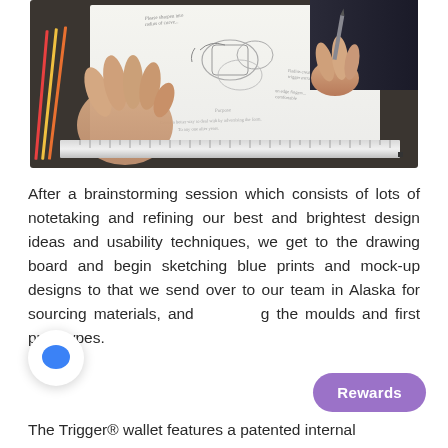[Figure (photo): Overhead photo of hands drawing or sketching product blueprints on a white sheet of paper on a dark table, with pencils and a metal ruler visible]
After a brainstorming session which consists of lots of notetaking and refining our best and brightest design ideas and usability techniques, we get to the drawing board and begin sketching blue prints and mock-up designs to that we send over to our team in Alaska for sourcing materials, and g the moulds and first prototypes.
The Trigger® wallet features a patented internal